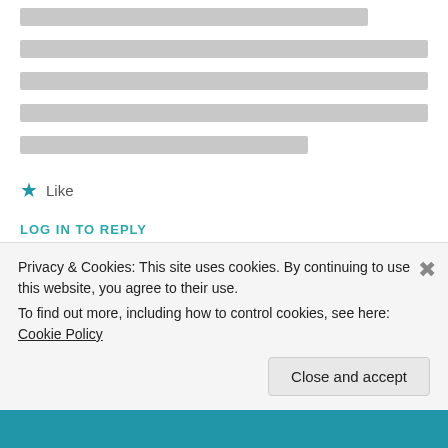[redacted text lines - multiple lines of obscured content]
Like
LOG IN TO REPLY
Marylin
[Figure (illustration): Decorative avatar icon with a yellow/green diamond pattern on dark background]
Privacy & Cookies: This site uses cookies. By continuing to use this website, you agree to their use. To find out more, including how to control cookies, see here: Cookie Policy
Close and accept